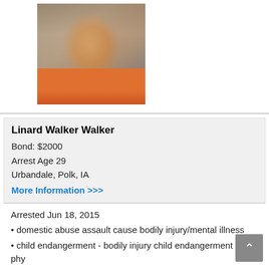[Figure (photo): Mugshot of Linard Walker Walker, man in orange jail clothing, gray background]
Linard Walker Walker
Bond: $2000
Arrest Age 29
Urbandale, Polk, IA
More Information >>>
Arrested Jun 18, 2015
domestic abuse assault cause bodily injury/mental illness
child endangerment - bodily injury child endangerment -- phy